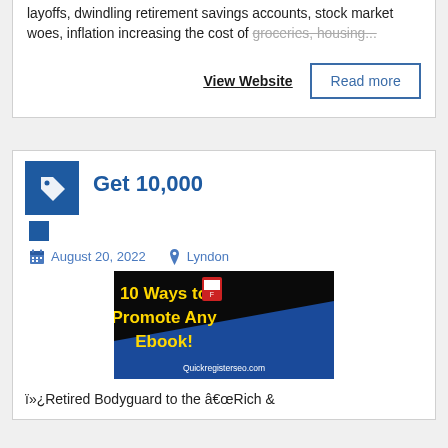layoffs, dwindling retirement savings accounts, stock market woes, inflation increasing the cost of groceries, housing...
View Website
Read more
Get 10,000
August 20, 2022
Lyndon
[Figure (illustration): Promotional banner reading '10 Ways to Promote Any Ebook!' with Quickregisterseo.com branding, black and blue background with yellow text]
ï»¿Retired Bodyguard to the â€œRich &